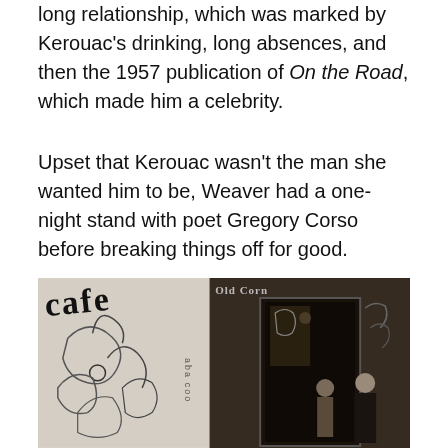long relationship, which was marked by Kerouac's drinking, long absences, and then the 1957 publication of On the Road, which made him a celebrity.
Upset that Kerouac wasn't the man she wanted him to be, Weaver had a one-night stand with poet Gregory Corso before breaking things off for good.
[Figure (photo): Black and white photograph split into two panels. Left panel shows a mural or artwork with abstract figures and the word 'cafe' written in large script at the top. Right panel shows people standing in a doorway of what appears to be a cafe or club, with a sign visible above the door.]